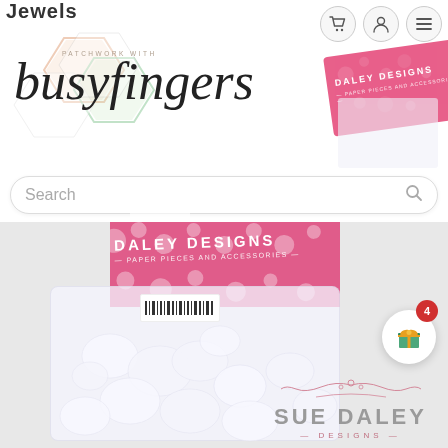[Figure (screenshot): Website screenshot of Patchwork with Busyfingers online store showing logo, navigation icons, search bar, and a product image of Sue Daley Designs white fabric/felt pieces in a pink-topped plastic bag, plus the Sue Daley Designs logo in pink.]
Jewels
Search
4
SUE DALEY DESIGNS